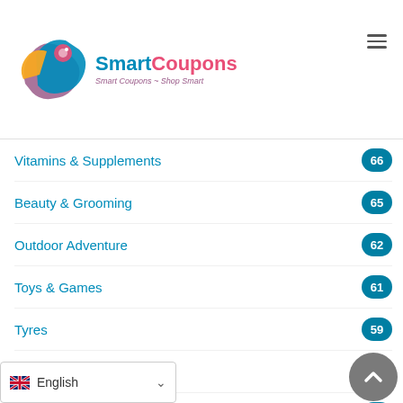SmartCoupons — Smart Coupons ~ Shop Smart
Vitamins & Supplements 66
Beauty & Grooming 65
Outdoor Adventure 62
Toys & Games 61
Tyres 59
Baby Clothes 57
Wedding Gifts 55
Товары из Китая 55
Часы и украшения 55
English (language selector)